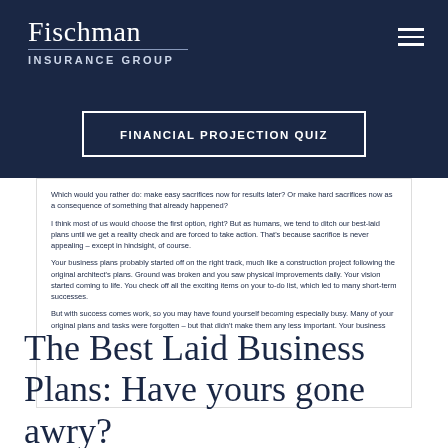Fischman Insurance Group
FINANCIAL PROJECTION QUIZ
Which would you rather do: make easy sacrifices now for results later? Or make hard sacrifices now as a consequence of something that already happened?

I think most of us would choose the first option, right? But as humans, we tend to ditch our best-laid plans until we get a reality check and are forced to take action. That's because sacrifice is never appealing – except in hindsight, of course.

Your business plans probably started off on the right track, much like a construction project following the original architect's plans. Ground was broken and you saw physical improvements daily. Your vision started coming to life. You check off all the exciting items on your to-do list, which led to many short-term successes.

But with success comes work, so you may have found yourself becoming especially busy. Many of your original plans and tasks were forgotten – but that didn't make them any less important. Your business
The Best Laid Business Plans: Have yours gone awry?